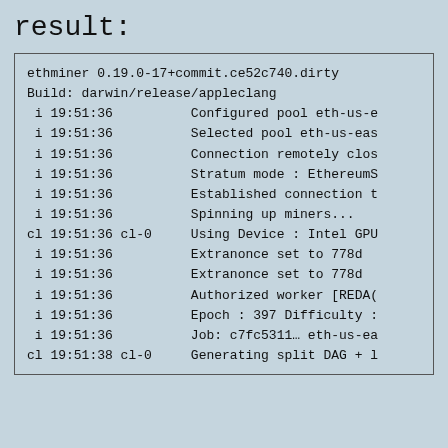result:
ethminer 0.19.0-17+commit.ce52c740.dirty
Build: darwin/release/appleclang

 i 19:51:36          Configured pool eth-us-e
 i 19:51:36          Selected pool eth-us-eas
 i 19:51:36          Connection remotely clos
 i 19:51:36          Stratum mode : EthereumS
 i 19:51:36          Established connection t
 i 19:51:36          Spinning up miners...
cl 19:51:36 cl-0     Using Device : Intel GPU
 i 19:51:36          Extranonce set to 778d
 i 19:51:36          Extranonce set to 778d
 i 19:51:36          Authorized worker [REDA(
 i 19:51:36          Epoch : 397 Difficulty :
 i 19:51:36          Job: c7fc5311… eth-us-ea
cl 19:51:38 cl-0     Generating split DAG + l